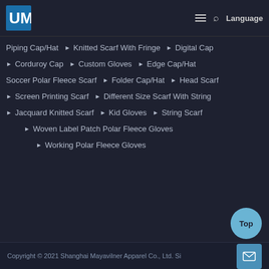UM Logo | Menu | Search | Language
Piping Cap/Hat
Knitted Scarf With Fringe
Digital Cap
Corduroy Cap
Custom Gloves
Edge Cap/Hat
Soccer Polar Fleece Scarf
Folder Cap/Hat
Head Scarf
Screen Printing Scarf
Different Size Scarf With String
Jacquard Knitted Scarf
Kid Gloves
String Scarf
Woven Label Patch Polar Fleece Gloves
Working Polar Fleece Gloves
Copyright © 2021 Shanghai Mayavilner Apparel Co., Ltd. Si...